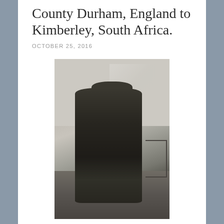County Durham, England to Kimberley, South Africa.
OCTOBER 25, 2016
[Figure (photo): Old black and white photograph of an elderly man standing outdoors, wearing a flat cap, dark suit jacket and waistcoat with a tie, with one hand in his pocket. He stands in front of what appears to be a gate or fence structure with a rural landscape behind him.]